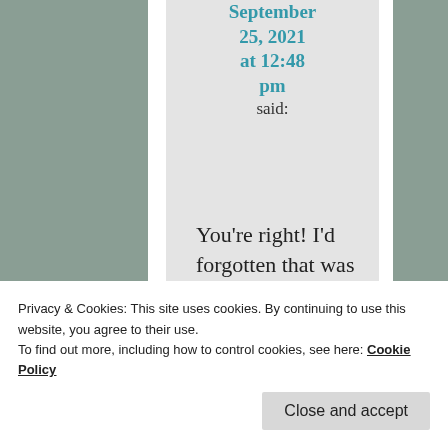September 25, 2021 at 12:48 pm said:
You're right! I'd forgotten that was on the front of the certificate. I
Privacy & Cookies: This site uses cookies. By continuing to use this website, you agree to their use.
To find out more, including how to control cookies, see here: Cookie Policy